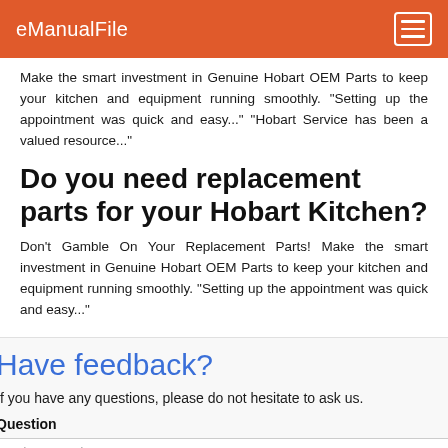eManualFile
Make the smart investment in Genuine Hobart OEM Parts to keep your kitchen and equipment running smoothly. "Setting up the appointment was quick and easy..." "Hobart Service has been a valued resource..."
Do you need replacement parts for your Hobart Kitchen?
Don't Gamble On Your Replacement Parts! Make the smart investment in Genuine Hobart OEM Parts to keep your kitchen and equipment running smoothly. "Setting up the appointment was quick and easy..."
Have feedback?
If you have any questions, please do not hesitate to ask us.
Question
Ask a question...